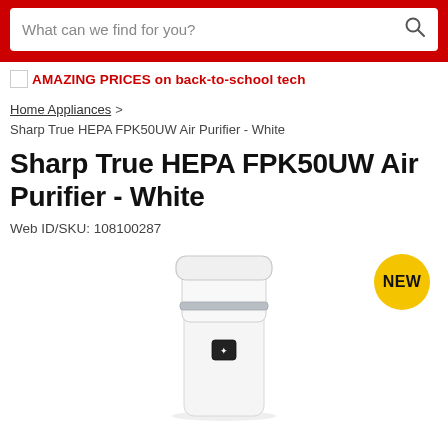[Figure (screenshot): Search bar with placeholder text 'What can we find for you?' and magnifying glass icon, on a red background]
[Figure (photo): Broken image placeholder followed by red text: AMAZING PRICES on back-to-school tech]
Home Appliances > Sharp True HEPA FPK50UW Air Purifier - White
Sharp True HEPA FPK50UW Air Purifier - White
Web ID/SKU: 108100287
[Figure (photo): White Sharp FPK50UW air purifier standing upright with a silver trim ring near the top and a small control button on the front panel. A yellow 'NEW' badge is shown to the upper right.]